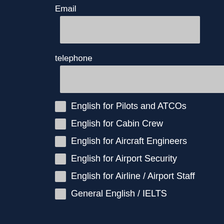Email
[Figure (other): Email input field (empty text box)]
telephone
[Figure (other): Telephone input field (empty text box)]
English for Pilots and ATCOs
English for Cabin Crew
English for Aircraft Engineers
English for Airport Security
English for Airline / Airport Staff
General English / IELTS
Teacher / Rater Training
I agree with the Terms and conditions and the Privacy policy